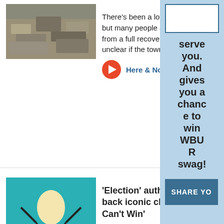[Figure (screenshot): Thumbnail image of trash/debris pile for first article]
There's been a lot of effort but many people are still a from a full recovery — and unclear if the town will eve
Here & Now  05:29  6h
[Figure (screenshot): Book cover thumbnail for Tracy Flick Can't Win, teal background with figure]
'Election' author Tom Per back iconic character in 'T Can't Win'
Tom Perrotta introduced t Tracy Flick in his 1998 nov which was made into a film Reese Witherspoon.
Here & Now  09:47  6h
serve you. And gives you a chance to win WBUR swag!
[Figure (screenshot): SHARE YO button in dark blue]
LISTEN LIVE
Science Friday